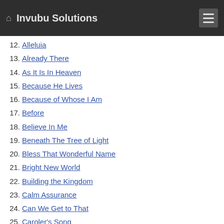Invubu Solutions
12. Alleluia
13. Already There
14. As It Is In Heaven
15. Because He Lives
16. Because of Whose I Am
17. Before
18. Believe In Me
19. Beneath The Tree of Light
20. Bless That Wonderful Name
21. Bright New World
22. Building the Kingdom
23. Calm Assurance
24. Can We Get to That
25. Caroler's Song
26. Changin' Directions
27. Christmas Day, So Long Ago
28. Come On, Come On
29. Come to My Heart, Lord Jesus